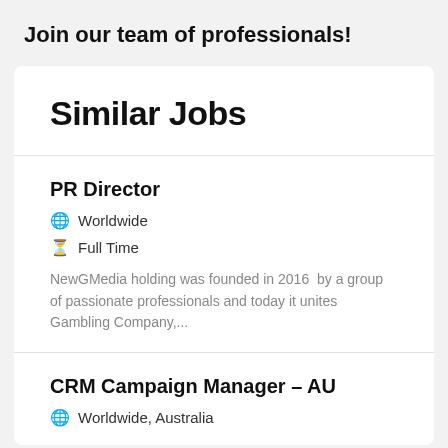Join our team of professionals!
Similar Jobs
PR Director
🌐 Worldwide
⏱ Full Time
NewGMedia holding was founded in 2016  by a group of passionate professionals and today it unites Gambling Company,...
CRM Campaign Manager – AU
🌐 Worldwide, Australia